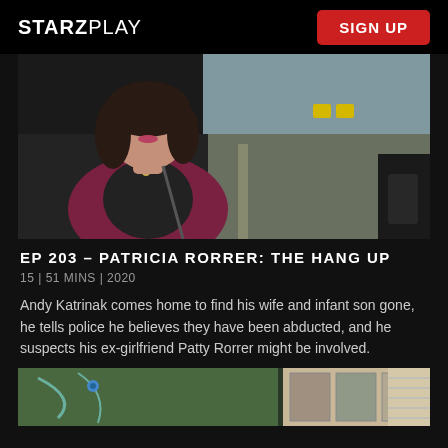STARZPLAY
[Figure (photo): Woman with dark hair wearing a burgundy cardigan over a black top, seated in a car. Outside the window is a road lined with trees and yellow road signs.]
EP 203 - PATRICIA RORRER: THE HANG UP
15 | 51 MINS | 2020
Andy Katrinak comes home to find his wife and infant son gone, he tells police he believes they have been abducted, and he suspects his ex-girlfriend Patty Rorrer might be involved.
[Figure (photo): Partial view of what appears to be a map and some photographs on a surface, partially cut off at the bottom of the page.]